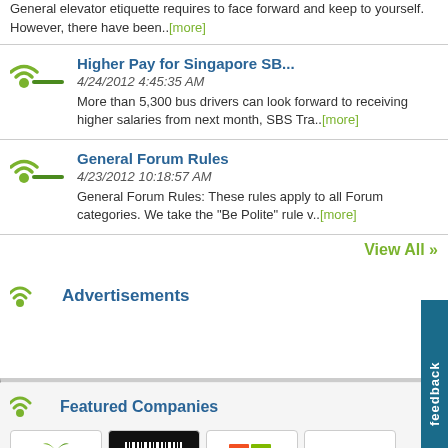General elevator etiquette requires to face forward and keep to yourself. However, there have been..[more]
Higher Pay for Singapore SB...
4/24/2012 4:45:35 AM
More than 5,300 bus drivers can look forward to receiving higher salaries from next month, SBS Tra..[more]
General Forum Rules
4/23/2012 10:18:57 AM
General Forum Rules: These rules apply to all Forum categories. We take the "Be Polite" rule v..[more]
View All »
Advertisements
Featured Companies
[Figure (logo): Four company logos: fruit/leaf logo, barcode logo, Windows logo, Standard Chartered logo]